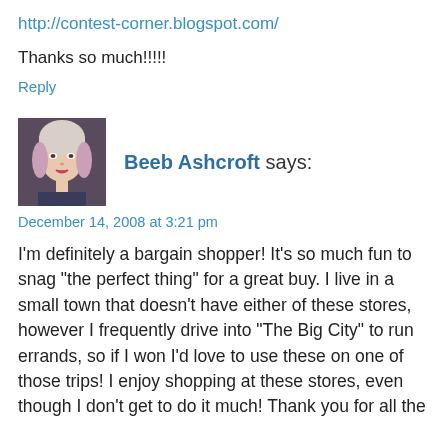http://contest-corner.blogspot.com/
Thanks so much!!!!!
Reply
Beeb Ashcroft says:
December 14, 2008 at 3:21 pm
I'm definitely a bargain shopper! It's so much fun to snag "the perfect thing" for a great buy. I live in a small town that doesn't have either of these stores, however I frequently drive into "The Big City" to run errands, so if I won I'd love to use these on one of those trips! I enjoy shopping at these stores, even though I don't get to do it much! Thank you for all the ...